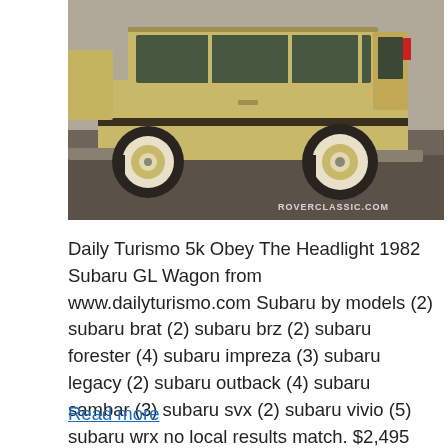[Figure (photo): Side/rear view of a tan/gold colored 1982 Subaru GL Wagon on a gravel/dirt road. Watermark text reads ROVERCLASSIC.COM in the lower right corner of the image.]
Daily Turismo 5k Obey The Headlight 1982 Subaru GL Wagon from www.dailyturismo.com Subaru by models (2) subaru brat (2) subaru brz (2) subaru forester (4) subaru impreza (3) subaru legacy (2) subaru outback (4) subaru sambar (3) subaru svx (2) subaru vivio (5) subaru wrx no local results match. $2,495 1987 subaru gl for sale. Description for subaru gl 1983.
Read more